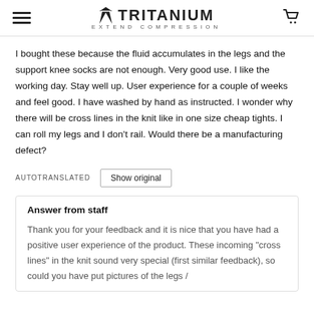TRITANIUM EXTEND COMPRESSION
I bought these because the fluid accumulates in the legs and the support knee socks are not enough. Very good use. I like the working day. Stay well up. User experience for a couple of weeks and feel good. I have washed by hand as instructed. I wonder why there will be cross lines in the knit like in one size cheap tights. I can roll my legs and I don't rail. Would there be a manufacturing defect?
AUTOTRANSLATED   Show original
Answer from staff
Thank you for your feedback and it is nice that you have had a positive user experience of the product. These incoming "cross lines" in the knit sound very special (first similar feedback), so could you have put pictures of the legs /